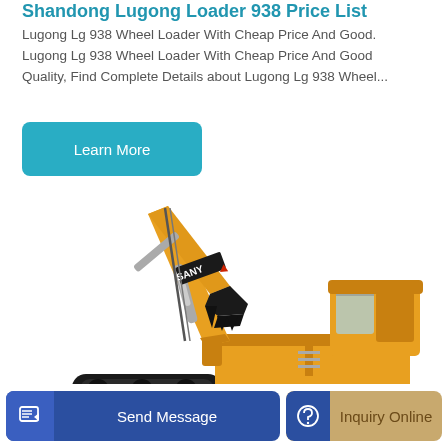Shandong Lugong Loader 938 Price List
Lugong Lg 938 Wheel Loader With Cheap Price And Good. Lugong Lg 938 Wheel Loader With Cheap Price And Good Quality, Find Complete Details about Lugong Lg 938 Wheel...
[Figure (other): Blue rounded button labeled 'Learn More']
[Figure (photo): Yellow SANY brand large excavator/crawler excavator on white background, showing boom, arm, bucket, cab and undercarriage with tracks]
[Figure (other): Bottom action bar with two buttons: 'Send Message' (blue, with pencil/document icon on left) and 'Inquiry Online' (tan/gold, with headset icon on left)]